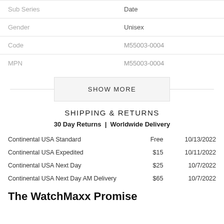| Sub Series | Date |
| --- | --- |
| Gender | Unisex |
| Code | M55003-0004 |
| MPN | M55003-0004 |
SHOW MORE
SHIPPING & RETURNS
30 Day Returns  |  Worldwide Delivery
| Continental USA Standard | Free | 10/13/2022 |
| Continental USA Expedited | $15 | 10/11/2022 |
| Continental USA Next Day | $25 | 10/7/2022 |
| Continental USA Next Day AM Delivery | $65 | 10/7/2022 |
The WatchMaxx Promise